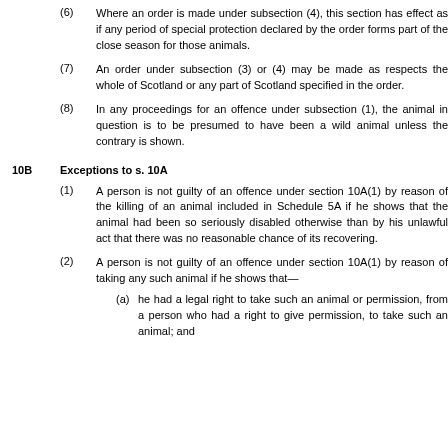(6) Where an order is made under subsection (4), this section has effect as if any period of special protection declared by the order forms part of the close season for those animals.
(7) An order under subsection (3) or (4) may be made as respects the whole of Scotland or any part of Scotland specified in the order.
(8) In any proceedings for an offence under subsection (1), the animal in question is to be presumed to have been a wild animal unless the contrary is shown.
10B Exceptions to s. 10A
(1) A person is not guilty of an offence under section 10A(1) by reason of the killing of an animal included in Schedule 5A if he shows that the animal had been so seriously disabled otherwise than by his unlawful act that there was no reasonable chance of its recovering.
(2) A person is not guilty of an offence under section 10A(1) by reason of taking any such animal if he shows that—
(a) he had a legal right to take such an animal or permission, from a person who had a right to give permission, to take such an animal; and